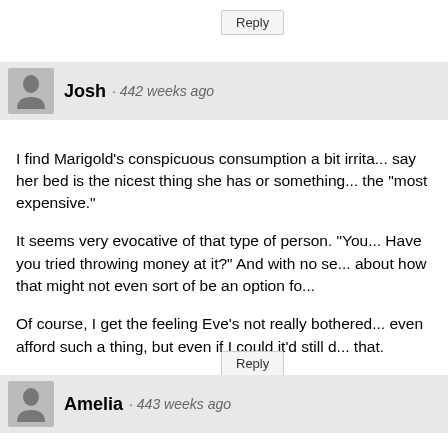Reply
Josh · 442 weeks ago
I find Marigold's conspicuous consumption a bit irrita... say her bed is the nicest thing she has or something... the "most expensive."
It seems very evocative of that type of person. "You... Have you tried throwing money at it?" And with no se... about how that might not even sort of be an option fo...
Of course, I get the feeling Eve's not really bothered... even afford such a thing, but even if I could it'd still d... that.
Reply
Amelia · 443 weeks ago
This arc is pushing me to check in with my friends to... they're all doing okay. Thank you, Meredith, even if v... Marigold be inconsiderate jerks is frustrating.
Reply